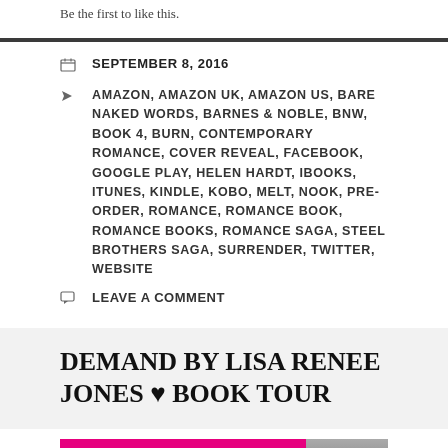Be the first to like this.
SEPTEMBER 8, 2016
AMAZON, AMAZON UK, AMAZON US, BARE NAKED WORDS, BARNES & NOBLE, BNW, BOOK 4, BURN, CONTEMPORARY ROMANCE, COVER REVEAL, FACEBOOK, GOOGLE PLAY, HELEN HARDT, IBOOKS, ITUNES, KINDLE, KOBO, MELT, NOOK, PRE-ORDER, ROMANCE, ROMANCE BOOK, ROMANCE BOOKS, ROMANCE SAGA, STEEL BROTHERS SAGA, SURRENDER, TWITTER, WEBSITE
LEAVE A COMMENT
DEMAND BY LISA RENEE JONES ♥ BOOK TOUR
[Figure (illustration): Pink book tour banner with 'MAY 31-JUNE 3 BOOK TOUR' text, hosted by TRSOR logo on left, and book cover image of 'demand' on right]